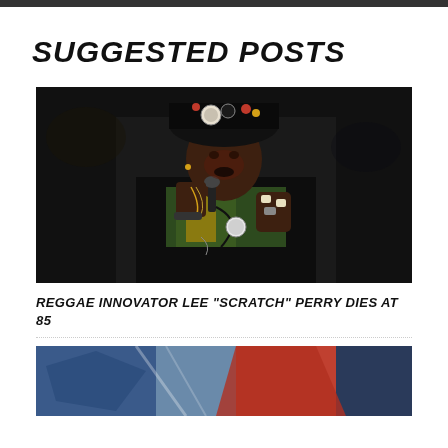SUGGESTED POSTS
[Figure (photo): A man wearing an ornate decorated hat with goggles and jewellery, singing into a microphone with rings on his fingers, in dark performance setting — Lee 'Scratch' Perry]
REGGAE INNOVATOR LEE “SCRATCH” PERRY DIES AT 85
[Figure (photo): Partial image of another article, showing what appears to be a colorful scene, cropped at the bottom of the page]